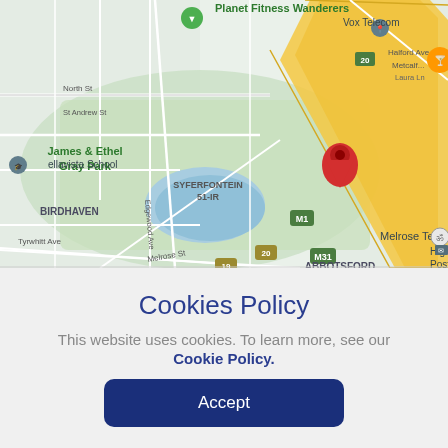[Figure (map): Google Maps screenshot showing Melrose Temple area in Johannesburg, South Africa. Shows James & Ethel Gray Park, Syferfontein 51-IR lake, Birdhaven, Abbotsford, Park Street Estate, Planet Fitness Wanderers, Vox Telecom. Yellow highway M1/M31/20/19 roads visible. Red location pin on Melrose Temple.]
Cookies Policy
This website uses cookies. To learn more, see our
Cookie Policy.
Accept